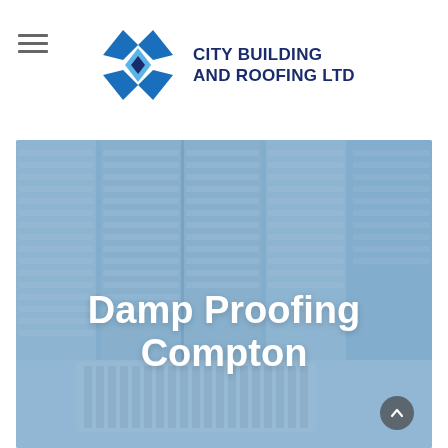[Figure (logo): City Building and Roofing Ltd logo with blue diamond/chevron icon and dark blue bold text]
[Figure (photo): Background photo of plantation shutters and a radiator, tinted blue, with overlaid white bold text reading 'Damp Proofing Compton']
Damp Proofing Compton